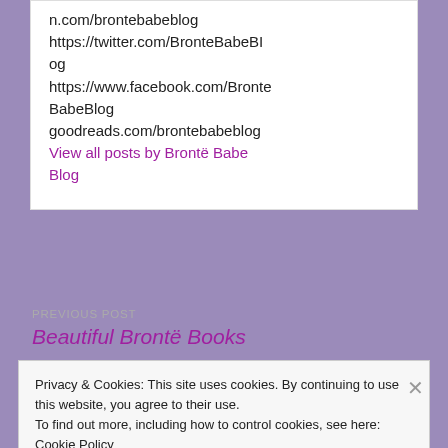n.com/brontebabeblog https://twitter.com/BronteBabeBlog https://www.facebook.com/BronteBabeBlog goodreads.com/brontebabeblog
View all posts by Brontë Babe Blog
PREVIOUS POST
Beautiful Brontë Books
Privacy & Cookies: This site uses cookies. By continuing to use this website, you agree to their use.
To find out more, including how to control cookies, see here: Cookie Policy
Close and accept